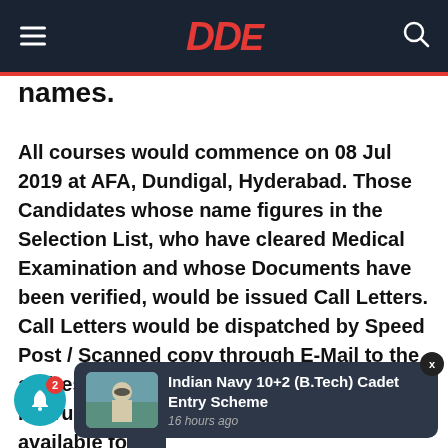DDE (logo navigation bar)
names.
All courses would commence on 08 Jul 2019 at AFA, Dundigal, Hyderabad. Those Candidates whose name figures in the Selection List, who have cleared Medical Examination and whose Documents have been verified, would be issued Call Letters. Call Letters would be dispatched by Speed Post / Scanned copy through E-Mail to the address/ E-mail ID available on record. Instruction B available for site. (Airmen candidates will be issued Call
[Figure (photo): Indian Navy officer saluting, thumbnail image in notification popup]
Indian Navy 10+2 (B.Tech) Cadet Entry Scheme
16 hours ago